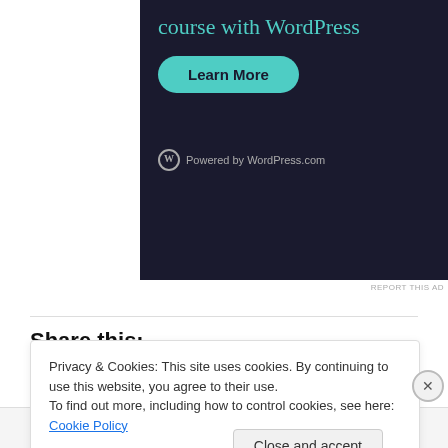[Figure (illustration): WordPress course advertisement banner with dark background, teal title text 'course with WordPress', a teal 'Learn More' button, and 'Powered by WordPress.com' footer with WordPress icon]
REPORT THIS AD
Share this:
[Figure (other): Row of sharing buttons: Email button with envelope icon, Tweet button with Twitter bird icon in blue, Save button in red with Pinterest icon, and count badge showing 279]
Loading
Privacy & Cookies: This site uses cookies. By continuing to use this website, you agree to their use.
To find out more, including how to control cookies, see here: Cookie Policy
Close and accept